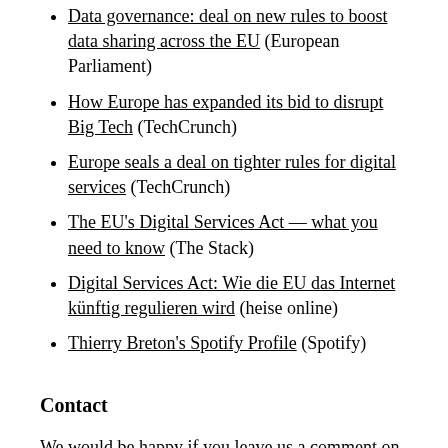Data governance: deal on new rules to boost data sharing across the EU (European Parliament)
How Europe has expanded its bid to disrupt Big Tech (TechCrunch)
Europe seals a deal on tighter rules for digital services (TechCrunch)
The EU's Digital Services Act — what you need to know (The Stack)
Digital Services Act: Wie die EU das Internet künftig regulieren wird (heise online)
Thierry Breton's Spotify Profile (Spotify)
Contact
We would be happy if you leave us a comment on Facebook, Instagram, Twitter or contact us via email (untangled@podworld.org) or check out our website...